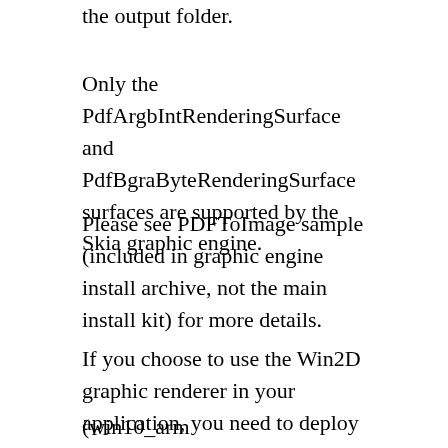the output folder.
Only the PdfArgbIntRenderingSurface and PdfBgraByteRenderingSurface surfaces are supported by the Skia graphic engine.
Please see PDFToImage sample (included in graphic engine install archive, not the main install kit) for more details.
If you choose to use the Win2D graphic renderer in your application, you need to deploy the Xfinium.Graphics.Uwp.Win2D.dll, Microsoft.Graphics.Canvas.winmd, Microsoft.Graphics.Canvas.dll
(win10_arm Microsoft.Graphics.Canvas.dll for